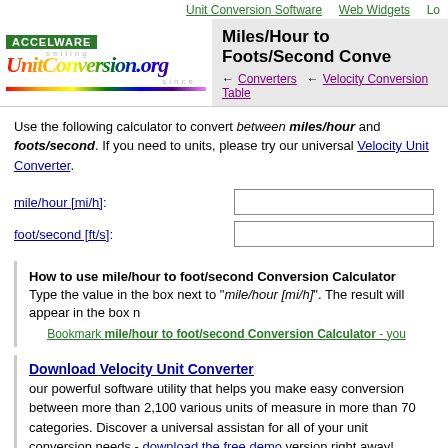Unit Conversion Software   Web Widgets   Lo
[Figure (logo): ACCELWARE badge and UnitConversion.org rainbow logo with circular text]
Miles/Hour to Foots/Second Conve
← Converters   ← Velocity Conversion Table
Use the following calculator to convert between miles/hour and foots/second. If you need to units, please try our universal Velocity Unit Converter.
mile/hour [mi/h]:
foot/second [ft/s]:
How to use mile/hour to foot/second Conversion Calculator
Type the value in the box next to "mile/hour [mi/h]". The result will appear in the box n
Bookmark mile/hour to foot/second Conversion Calculator - you
Download Velocity Unit Converter
our powerful software utility that helps you make easy conversion between more than 2,100 various units of measure in more than 70 categories. Discover a universal assistan for all of your unit conversion needs - download the free demo version right away!